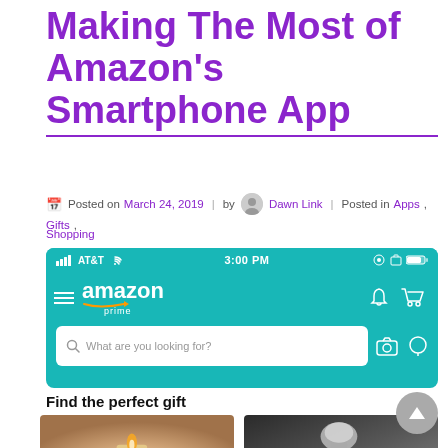Making The Most of Amazon's Smartphone App
Posted on March 24, 2019 | by Dawn Link | Posted in Apps, Gifts, Shopping
[Figure (screenshot): Amazon Prime smartphone app screenshot showing status bar with AT&T 3:00 PM, Amazon Prime logo with hamburger menu, bell and cart icons, and search bar saying 'What are you looking for?' with camera and microphone icons]
Find the perfect gift
[Figure (photo): Two product photos side by side: left shows a lit candle surrounded by flowers, right shows a shaving brush with dark background]